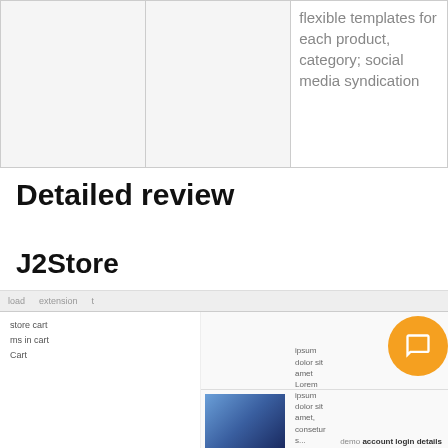|  |  | flexible templates for each product, category; social media syndication |
Detailed review
J2Store
[Figure (screenshot): Cookie consent overlay on dark background saying 'This website uses cookies to ensure you get the best experience on our website.' with a 'More information' link and a yellow 'Got It!' button. Behind it is a partial screenshot of a J2Store website interface showing navigation links and an orange chat button.]